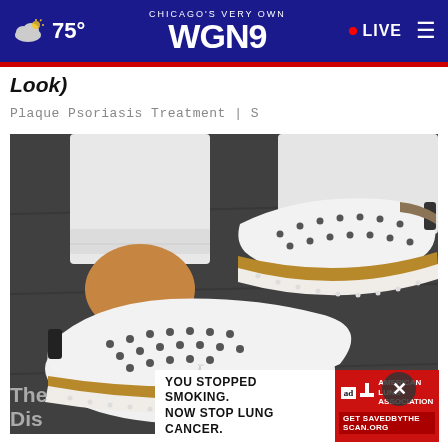Chicago's Very Own WGN9 · 75° · LIVE
Look)
Plaque Psoriasis Treatment | S
[Figure (photo): Close-up photo of a person wearing white jeans and white slip-on sneakers with perforated design, brown/tan sole trim, and tassel detail, standing on dark pavement]
[Figure (infographic): American Lung Association advertisement: YOU STOPPED SMOKING. NOW STOP LUNG CANCER. Get SAVEDBYTHE SCAN.ORG]